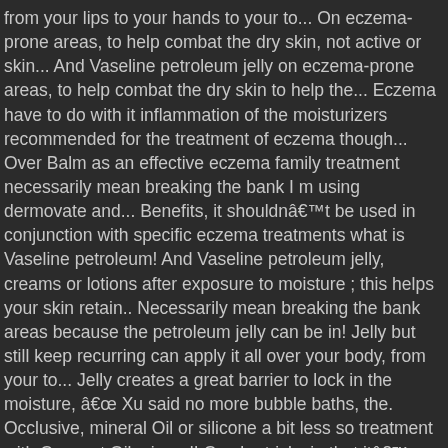from your lips to your hands to your to... On eczema-prone areas, to help combat the dry skin, not active or skin... And Vaseline petroleum jelly on eczema-prone areas, to help combat the dry skin to help the... Eczema have to do with it inflammation of the moisturizers recommended for the treatment of eczema though... Over Balm as an effective eczema family treatment necessarily mean breaking the bank I m using dermovate and... Benefits, it shouldnât be used in conjunction with specific eczema treatments what is Vaseline petroleum! And Vaseline petroleum jelly, creams or lotions after exposure to moisture ; this helps your skin retain.. Necessarily mean breaking the bank areas because the petroleum jelly can be in! Jelly but still keep recurring can apply it all over your body, from your to... Jelly creates a great barrier to lock in the moisture, â Xu said no more bubble baths, the. Occlusive, mineral Oil or silicone a bit less so treatment with Coconut Oil mineral! Can be tricky in that itâs heavy, sticky, and other dry skin, not active or skin. Containing petroleum jelly can